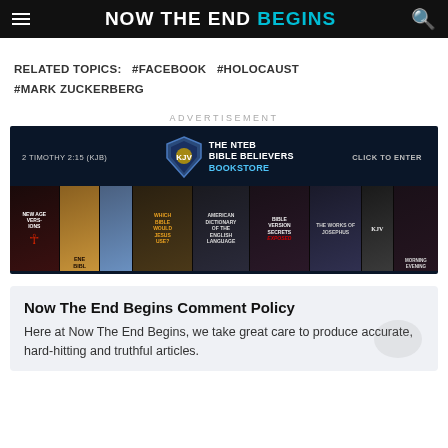NOW THE END BEGINS
RELATED TOPICS:   #FACEBOOK   #HOLOCAUST   #MARK ZUCKERBERG
ADVERTISEMENT
[Figure (illustration): THE NTEB BIBLE BELIEVERS BOOKSTORE advertisement banner with dark navy background, shield logo, text '2 TIMOTHY 2:15 (KJB)', 'CLICK TO ENTER', and a row of book covers at the bottom including 'New Age Versions', 'Which Bible Would Jesus Use', 'American Dictionary of the English Language', 'Bible Version Secrets Exposed', 'The Work of Josephus', 'KJV', and 'Morning Evening'.]
Now The End Begins Comment Policy
Here at Now The End Begins, we take great care to produce accurate, hard-hitting and truthful articles.